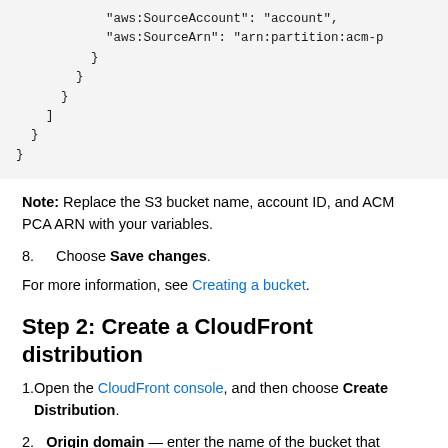"aws:SourceAccount": "account",
"aws:SourceArn": "arn:partition:acm-p"
}
}
}
]
}
Note: Replace the S3 bucket name, account ID, and ACM PCA ARN with your variables.
8.   Choose Save changes.
For more information, see Creating a bucket.
Step 2: Create a CloudFront distribution
1.   Open the CloudFront console, and then choose Create Distribution.
2.   Origin domain — enter the name of the bucket that...